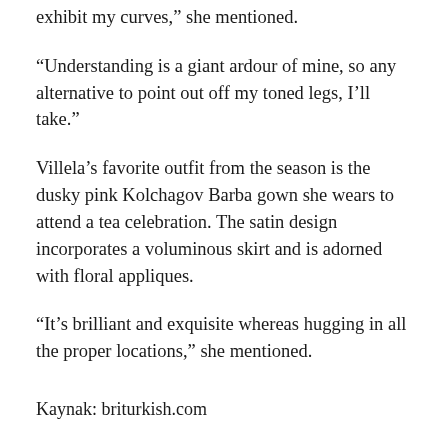exhibit my curves,” she mentioned.
“Understanding is a giant ardour of mine, so any alternative to point out off my toned legs, I’ll take.”
Villela’s favorite outfit from the season is the dusky pink Kolchagov Barba gown she wears to attend a tea celebration. The satin design incorporates a voluminous skirt and is adorned with floral appliques.
“It’s brilliant and exquisite whereas hugging in all the proper locations,” she mentioned.
Kaynak: briturkish.com